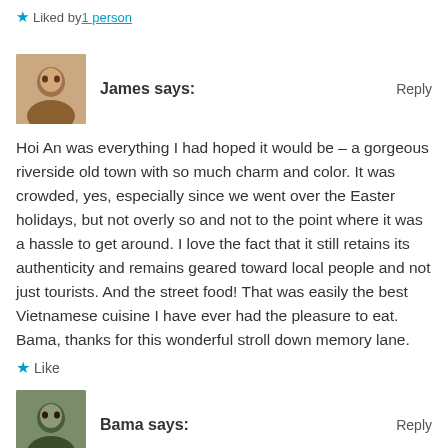★ Liked by 1 person
James says:    Reply
Hoi An was everything I had hoped it would be – a gorgeous riverside old town with so much charm and color. It was crowded, yes, especially since we went over the Easter holidays, but not overly so and not to the point where it was a hassle to get around. I love the fact that it still retains its authenticity and remains geared toward local people and not just tourists. And the street food! That was easily the best Vietnamese cuisine I have ever had the pleasure to eat. Bama, thanks for this wonderful stroll down memory lane.
★ Like
Bama says:    Reply